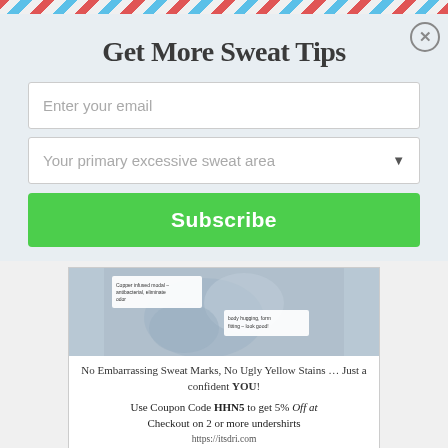Get More Sweat Tips
Enter your email
Your primary excessive sweat area
Subscribe
[Figure (photo): Product image of a gray undershirt with two label callouts: 'Copper infused modal – antibacterial, eliminate odor' and 'body hugging, form fitting – look good!']
No Embarrassing Sweat Marks, No Ugly Yellow Stains … Just a confident YOU!
Use Coupon Code HHN5 to get 5% Off at Checkout on 2 or more undershirts
https://itsdri.com
MOST POPULAR